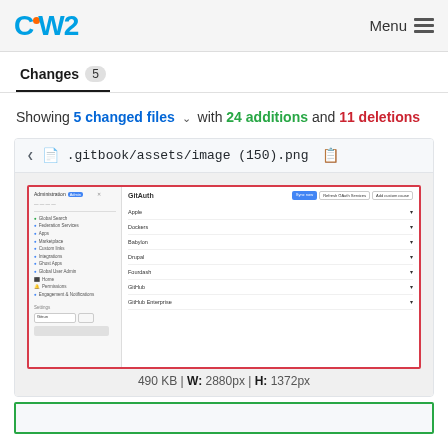OW2 | Menu
Changes 5
Showing 5 changed files with 24 additions and 11 deletions
.gitbook/assets/image (150).png
[Figure (screenshot): Screenshot of a web UI showing an administration/catalog panel with a sidebar navigation and a main content area listing items (Apple, Dockers, Babylon, Drupal, Fourdash, GitHub, GitHub Enterprise) with dropdowns]
490 KB | W: 2880px | H: 1372px